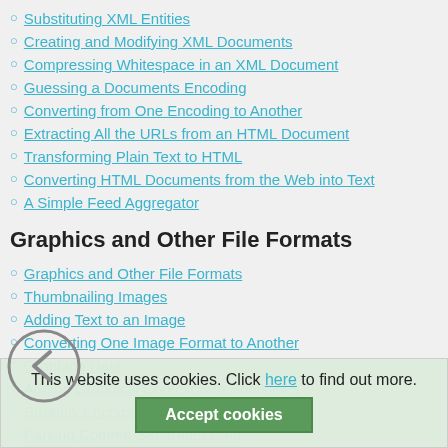Substituting XML Entities
Creating and Modifying XML Documents
Compressing Whitespace in an XML Document
Guessing a Documents Encoding
Converting from One Encoding to Another
Extracting All the URLs from an HTML Document
Transforming Plain Text to HTML
Converting HTML Documents from the Web into Text
A Simple Feed Aggregator
Graphics and Other File Formats
Graphics and Other File Formats
Thumbnailing Images
Adding Text to an Image
Converting One Image Format to Another
Graphing Data
Adding Graphical Context with Sparklines
Strongly Encrypting Data
Parsing Comma-Separated Data
Parsing Not-Quite-Comma-Separated Data
Reading and Writing ZIP Files